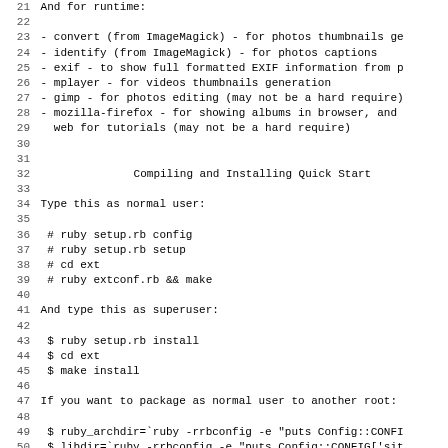21 And for runtime:
23 - convert (from ImageMagick) - for photos thumbnails ge
24 - identify (from ImageMagick) - for photos captions
25 - exif - to show full formatted EXIF information from p
26 - mplayer - for videos thumbnails generation
27 - gimp - for photos editing (may not be a hard require)
28 - mozilla-firefox - for showing albums in browser, and
29   web for tutorials (may not be a hard require)
32         Compiling and Installing Quick Start
34 Type this as normal user:
36  # ruby setup.rb config
37  # ruby setup.rb setup
38  # cd ext
39  # ruby extconf.rb && make
41 And type this as superuser:
43  $ ruby setup.rb install
44  $ cd ext
45  $ make install
47 If you want to package as normal user to another root:
49  $ ruby_archdir=`ruby -rrbconfig -e "puts Config::CONFI
50  $ libdir=`ruby -rrbconfig -e "puts Config::CONFIG['sit
51  $ rm -rf ${buildroot}
52  $ ruby setup.rb install --prefix=${buildroot}